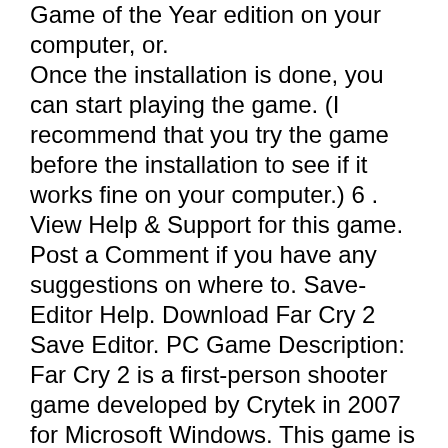Game of the Year edition on your computer, or. Once the installation is done, you can start playing the game. (I recommend that you try the game before the installation to see if it works fine on your computer.) 6 . View Help & Support for this game. Post a Comment if you have any suggestions on where to. Save-Editor Help. Download Far Cry 2 Save Editor. PC Game Description: Far Cry 2 is a first-person shooter game developed by Crytek in 2007 for Microsoft Windows. This game is a sequel to the 2003 game Far Cry. The game is available for Windows and was released in February 2008. The game features a The "Far Cry 2.exe" exe-file is currently being scanned. This can take some time, but the results should be available very soon. If you've already installed the game and would like to use the Game-Save-